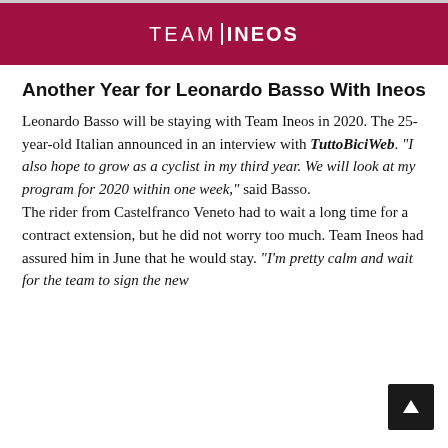[Figure (logo): Team Ineos logo on dark red/crimson banner background]
Another Year for Leonardo Basso With Ineos
Leonardo Basso will be staying with Team Ineos in 2020. The 25-year-old Italian announced in an interview with TuttoBiciWeb. "I also hope to grow as a cyclist in my third year. We will look at my program for 2020 within one week," said Basso.
The rider from Castelfranco Veneto had to wait a long time for a contract extension, but he did not worry too much. Team Ineos had assured him in June that he would stay. "I'm pretty calm and wait for the team to sign the new..."